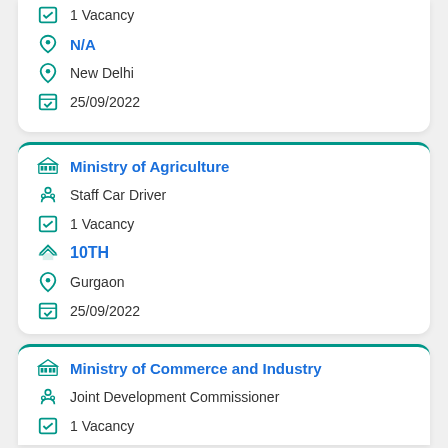1 Vacancy
N/A
New Delhi
25/09/2022
Ministry of Agriculture
Staff Car Driver
1 Vacancy
10TH
Gurgaon
25/09/2022
Ministry of Commerce and Industry
Joint Development Commissioner
1 Vacancy